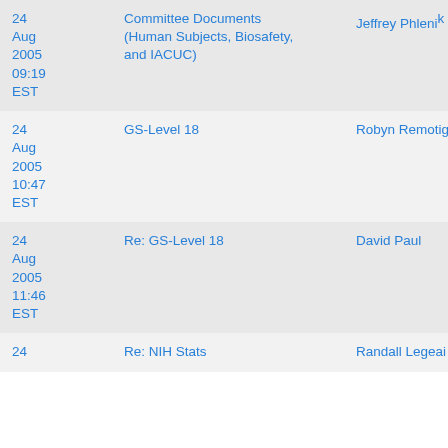| Date | Subject | From |
| --- | --- | --- |
| 24 Aug 2005 09:19 EST | Committee Documents (Human Subjects, Biosafety, and IACUC) | Jeffrey Phlenik |
| 24 Aug 2005 10:47 EST | GS-Level 18 | Robyn Remotigue |
| 24 Aug 2005 11:46 EST | Re: GS-Level 18 | David Paul |
| 24 Aug 2005 | Re: NIH Stats | Randall Legeai |